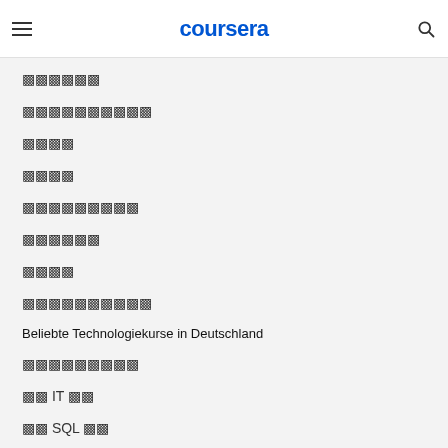coursera
🀆🀆🀆🀆🀆🀆
🀆🀆🀆🀆🀆🀆🀆🀆🀆🀆
🀆🀆🀆🀆
🀆🀆🀆🀆
🀆🀆🀆🀆🀆🀆🀆🀆🀆
🀆🀆🀆🀆🀆🀆
🀆🀆🀆🀆
🀆🀆🀆🀆🀆🀆🀆🀆🀆🀆
Beliebte Technologiekurse in Deutschland
🀆🀆🀆🀆🀆🀆🀆🀆🀆
🀆🀆 IT 🀆🀆
🀆🀆 SQL 🀆🀆
🀆🀆🀆🀆🀆🀆🀆🀆🀆
🀆🀆🀆🀆🀆🀆🀆🀆🀆